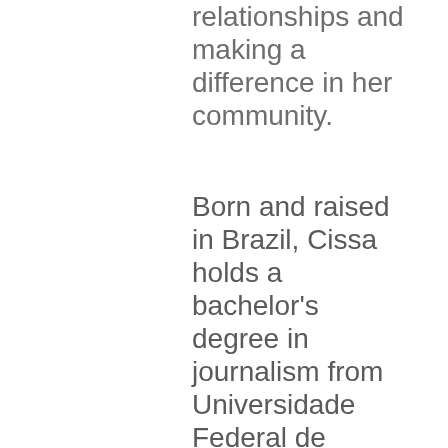relationships and making a difference in her community.
Born and raised in Brazil, Cissa holds a bachelor's degree in journalism from Universidade Federal de M...